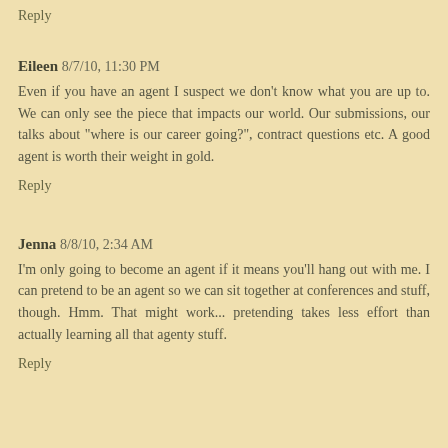Reply
Eileen 8/7/10, 11:30 PM
Even if you have an agent I suspect we don't know what you are up to. We can only see the piece that impacts our world. Our submissions, our talks about "where is our career going?", contract questions etc. A good agent is worth their weight in gold.
Reply
Jenna 8/8/10, 2:34 AM
I'm only going to become an agent if it means you'll hang out with me. I can pretend to be an agent so we can sit together at conferences and stuff, though. Hmm. That might work... pretending takes less effort than actually learning all that agenty stuff.
Reply